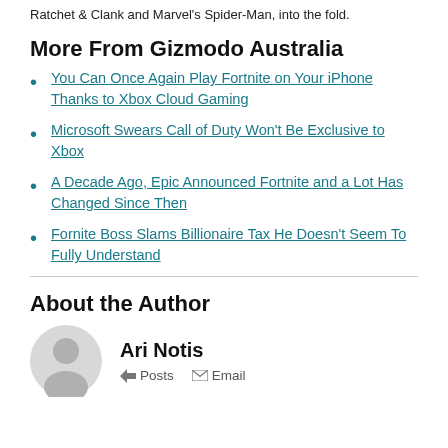Ratchet & Clank and Marvel's Spider-Man, into the fold.
More From Gizmodo Australia
You Can Once Again Play Fortnite on Your iPhone Thanks to Xbox Cloud Gaming
Microsoft Swears Call of Duty Won't Be Exclusive to Xbox
A Decade Ago, Epic Announced Fortnite and a Lot Has Changed Since Then
Fornite Boss Slams Billionaire Tax He Doesn't Seem To Fully Understand
About the Author
Ari Notis
Posts  Email